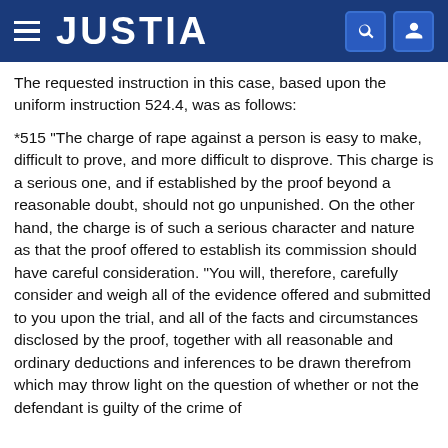JUSTIA
The requested instruction in this case, based upon the uniform instruction 524.4, was as follows:
*515 "The charge of rape against a person is easy to make, difficult to prove, and more difficult to disprove. This charge is a serious one, and if established by the proof beyond a reasonable doubt, should not go unpunished. On the other hand, the charge is of such a serious character and nature as that the proof offered to establish its commission should have careful consideration. "You will, therefore, carefully consider and weigh all of the evidence offered and submitted to you upon the trial, and all of the facts and circumstances disclosed by the proof, together with all reasonable and ordinary deductions and inferences to be drawn therefrom which may throw light on the question of whether or not the defendant is guilty of the crime of